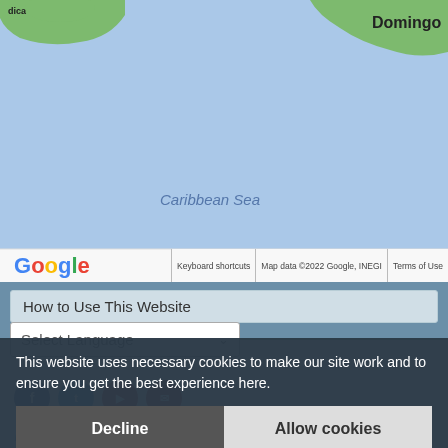[Figure (map): Google Maps screenshot showing the Caribbean Sea region, with land masses (including partial view of Dominican Republic area labeled 'Domingo') visible at top, blue ocean water dominating the view, and 'Caribbean Sea' label in the center. Google logo and map credits bar at bottom of map.]
How to Use This Website
Select Language
This website uses necessary cookies to make our site work and to ensure you get the best experience here.
Decline
Allow cookies
Haiti